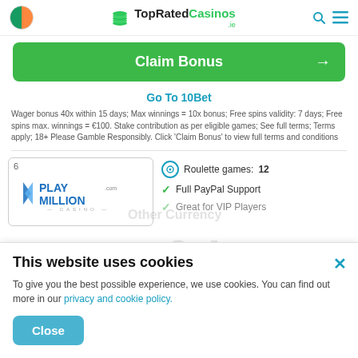TopRatedCasinos.ie
Up to €150 + 2 spins
Claim Bonus →
Go To 10Bet
Wager bonus 40x within 15 days; Max winnings = 10x bonus; Free spins validity: 7 days; Free spins max. winnings = €100. Stake contribution as per eligible games; See full terms; Terms apply; 18+ Please Gamble Responsibly. Click 'Claim Bonus' to view full terms and conditions
[Figure (screenshot): PlayMillion Casino logo card with rank 6]
Roulette games: 12
Full PayPal Support
Great for VIP Players
This website uses cookies
To give you the best possible experience, we use cookies. You can find out more in our privacy and cookie policy.
Close